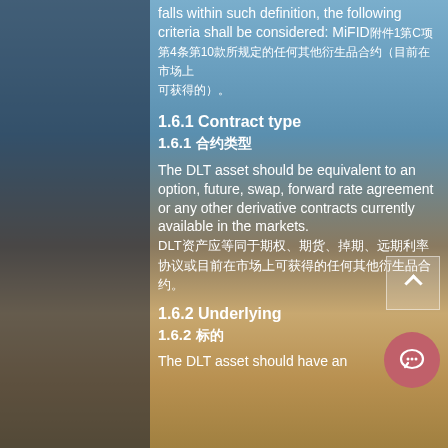falls within such definition, the following criteria shall be considered: MiFID附件1第C项第4条第10款所规定的任何其他衍生品合约（目前在市场上可获得的）。
1.6.1 Contract type
1.6.1 合约类型
The DLT asset should be equivalent to an option, future, swap, forward rate agreement or any other derivative contracts currently available in the markets. DLT资产应等同于期权、期货、掉期、远期利率协议或目前在市场上可获得的任何其他衍生品合约。
1.6.2 Underlying
1.6.2 标的
The DLT asset should have an